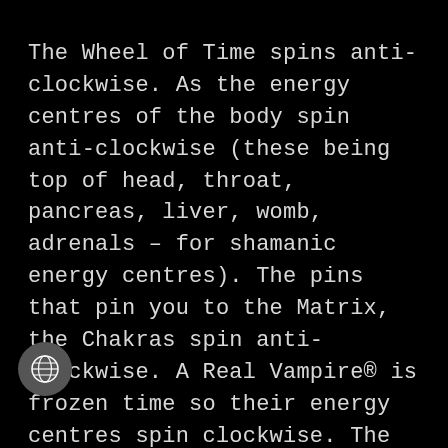The Wheel of Time spins anti-clockwise. As the energy centres of the body spin anti-clockwise (these being top of head, throat, pancreas, liver, womb, adrenals – for shamanic energy centres). The pins that pin you to the Matrix, the Chakras spin anti-clockwise. A Real Vampire® is frozen time so their energy centres spin clockwise. The magnitude of spin equal and opposite to that of the Wheel of Tim. The power for this comes from the Sun Psychotronic nerator®. It's spin (Torsion) is d by the Real Vampire® for the freezing of Time. The Insectile
[Figure (illustration): Globe/earth icon in a dark circular button, partially overlapping the text at bottom left]